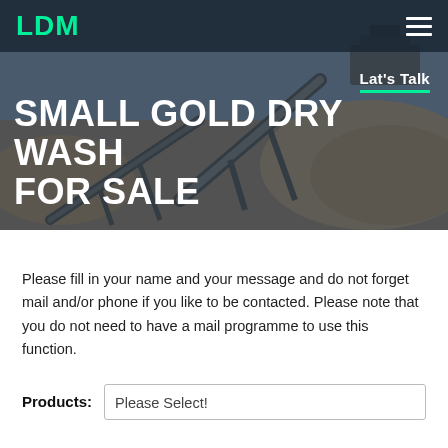LDM
[Figure (photo): Mining/crushing equipment with conveyor belts and gravel piles on a dry site, used as a hero background image with dark overlay]
Lat's Talk
SMALL GOLD DRY WASH FOR SALE
Please fill in your name and your message and do not forget mail and/or phone if you like to be contacted. Please note that you do not need to have a mail programme to use this function.
Products: Please Select!